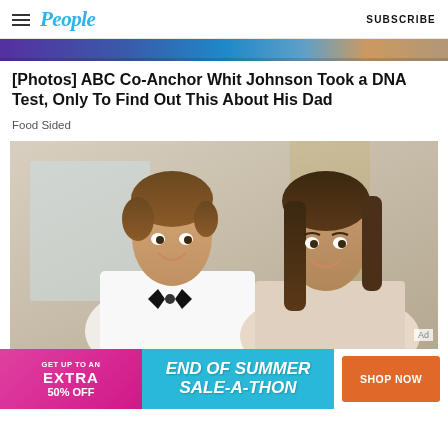People  SUBSCRIBE
[Figure (photo): Horizontal strip of colorful images at the top of the article feed]
[Photos] ABC Co-Anchor Whit Johnson Took a DNA Test, Only To Find Out This About His Dad
Food Sided
[Figure (photo): A young man in a white shirt and black bow tie smiling next to a young woman with dark hair, both posing together indoors]
Ad
[Figure (infographic): Banner advertisement: GET UP TO AN EXTRA 50% OFF | END OF SUMMER SALE-A-THON | SHOP NOW]